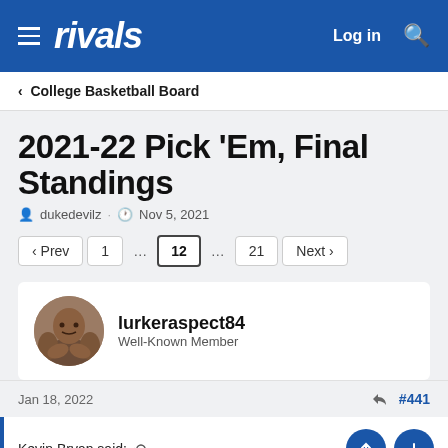rivals  Log in
< College Basketball Board
2021-22 Pick 'Em, Final Standings
dukedevilz · Nov 5, 2021
‹ Prev  1  ...  12  ...  21  Next ›
lurkeraspect84
Well-Known Member
Jan 18, 2022  #441
Kevin Bryan said: